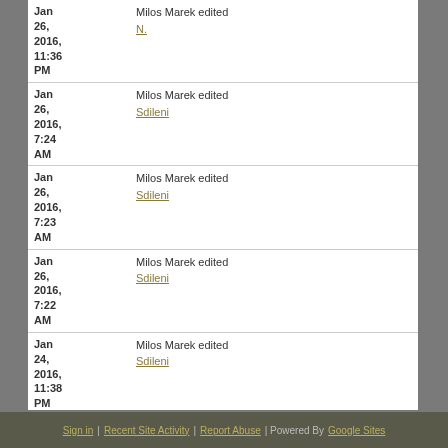| Date | Action |
| --- | --- |
| Jan 26, 2016, 11:36 PM | Milos Marek edited N. |
| Jan 26, 2016, 7:24 AM | Milos Marek edited Sdileni |
| Jan 26, 2016, 7:23 AM | Milos Marek edited Sdileni |
| Jan 26, 2016, 7:22 AM | Milos Marek edited Sdileni |
| Jan 24, 2016, 11:38 PM | Milos Marek edited Sdileni |
older | newer
Sign in | Recent Site Activity | Report Abuse | Powered By Google Sites